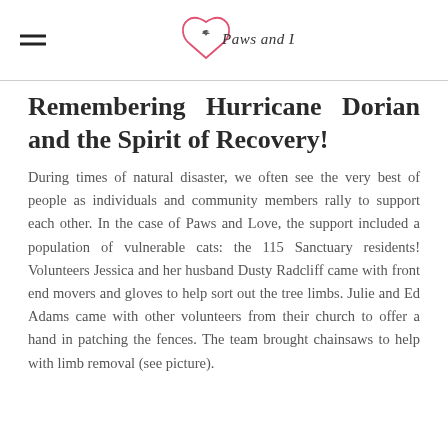Paws and Love
Remembering Hurricane Dorian and the Spirit of Recovery!
During times of natural disaster, we often see the very best of people as individuals and community members rally to support each other. In the case of Paws and Love, the support included a population of vulnerable cats: the 115 Sanctuary residents! Volunteers Jessica and her husband Dusty Radcliff came with front end movers and gloves to help sort out the tree limbs. Julie and Ed Adams came with other volunteers from their church to offer a hand in patching the fences. The team brought chainsaws to help with limb removal (see picture).